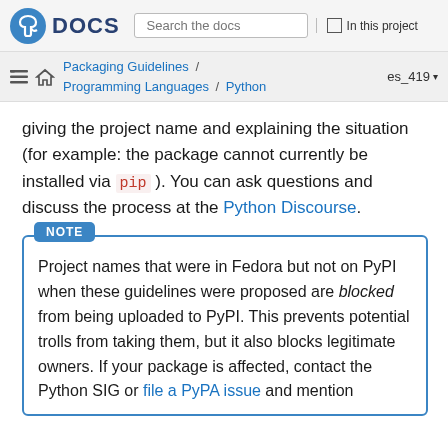Fedora DOCS | Search the docs | In this project
Packaging Guidelines / Programming Languages / Python | es_419
giving the project name and explaining the situation (for example: the package cannot currently be installed via pip ). You can ask questions and discuss the process at the Python Discourse.
NOTE
Project names that were in Fedora but not on PyPI when these guidelines were proposed are blocked from being uploaded to PyPI. This prevents potential trolls from taking them, but it also blocks legitimate owners. If your package is affected, contact the Python SIG or file a PyPA issue and mention